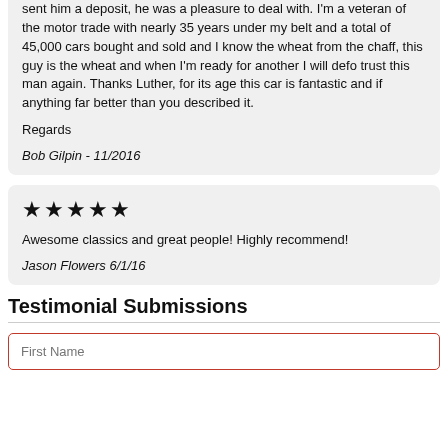sent him a deposit, he was a pleasure to deal with. I'm a veteran of the motor trade with nearly 35 years under my belt and a total of 45,000 cars bought and sold and I know the wheat from the chaff, this guy is the wheat and when I'm ready for another I will defo trust this man again. Thanks Luther, for its age this car is fantastic and if anything far better than you described it.

Regards
Bob Gilpin - 11/2016
★★★★★
Awesome classics and great people! Highly recommend!
Jason Flowers 6/1/16
Testimonial Submissions
First Name